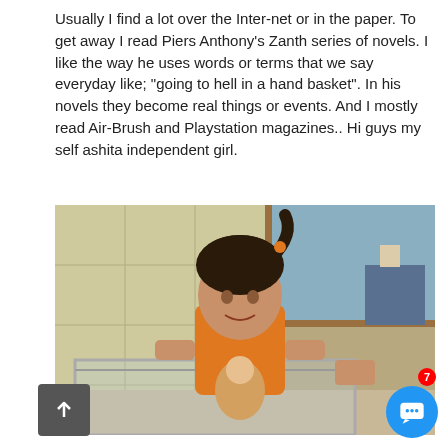Usually I find a lot over the Inter-net or in the paper. To get away I read Piers Anthony's Zanth series of novels. I like the way he uses words or terms that we say everyday like; "going to hell in a hand basket". In his novels they become real things or events. And I mostly read Air-Brush and Playstation magazines.. Hi guys my self ashita independent girl.
[Figure (photo): A young girl wearing an orange shirt with dark hair in a ponytail with an orange hair tie, smiling at the camera. She is standing behind a glass display case holding a doll. The background shows a yellow-tinted tiled wall on the left and a window with wooden frame on the right leading to another room.]